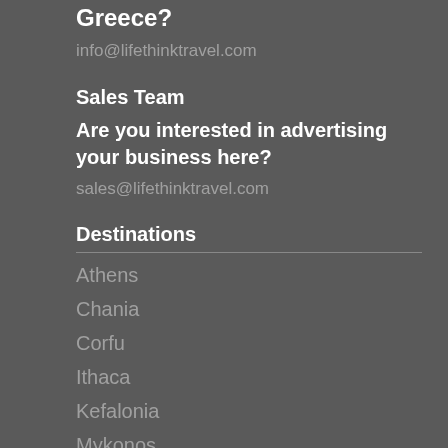Greece?
info@lifethinktravel.com
Sales Team
Are you interested in advertising your business here?
sales@lifethinktravel.com
Destinations
Athens
Chania
Corfu
Ithaca
Kefalonia
Mykonos
Paros